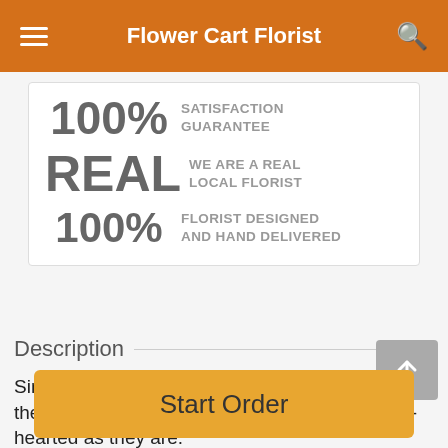Flower Cart Florist
100% SATISFACTION GUARANTEE
REAL WE ARE A REAL LOCAL FLORIST
100% FLORIST DESIGNED AND HAND DELIVERED
Description
Simple and sweet. When life gets hectic, start their day off right with an arrangement as warm-hearted as they are.
Start Order